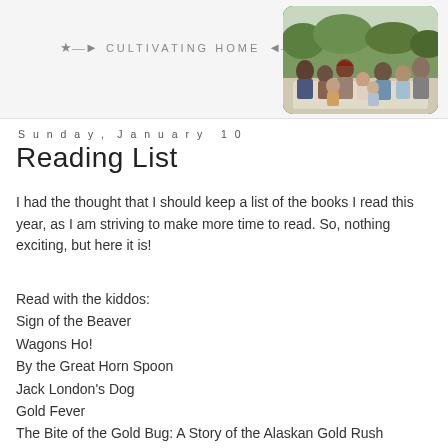Cultivating Home
[Figure (photo): Family photo of multiple adults and children sitting outdoors on grass/blanket]
Sunday, January 10
Reading List
I had the thought that I should keep a list of the books I read this year, as I am striving to make more time to read. So, nothing exciting, but here it is!
Read with the kiddos:
Sign of the Beaver
Wagons Ho!
By the Great Horn Spoon
Jack London's Dog
Gold Fever
The Bite of the Gold Bug: A Story of the Alaskan Gold Rush
Life on the Ranch